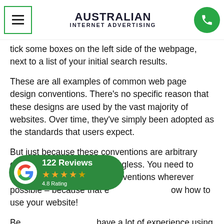AUSTRALIAN INTERNET ADVERTISING
tick some boxes on the left side of the webpage, next to a list of your initial search results.
These are all examples of common web page design conventions. There's no specific reason that these designs are used by the vast majority of websites. Over time, they've simply been adopted as the standards that users expect.
But just because these conventions are arbitrary doesn't mean they're meaningless. You need to follow typical web design conventions wherever possible – because that ensures users know how to use your website!
[Figure (other): Google review badge showing 122 Reviews, 4.8 Rating with 4.5 stars]
Because they already have a lot of experience using other websites, website visitors intuitively understand modern